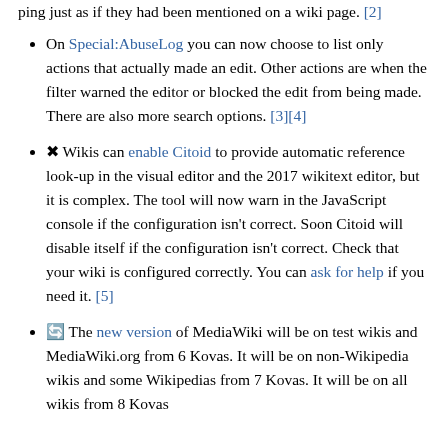ping just as if they had been mentioned on a wiki page. [2]
On Special:AbuseLog you can now choose to list only actions that actually made an edit. Other actions are when the filter warned the editor or blocked the edit from being made. There are also more search options. [3][4]
🔧 Wikis can enable Citoid to provide automatic reference look-up in the visual editor and the 2017 wikitext editor, but it is complex. The tool will now warn in the JavaScript console if the configuration isn't correct. Soon Citoid will disable itself if the configuration isn't correct. Check that your wiki is configured correctly. You can ask for help if you need it. [5]
🔄 The new version of MediaWiki will be on test wikis and MediaWiki.org from 6 Kovas. It will be on non-Wikipedia wikis and some Wikipedias from 7 Kovas. It will be on all wikis from 8 Kovas (schedule).